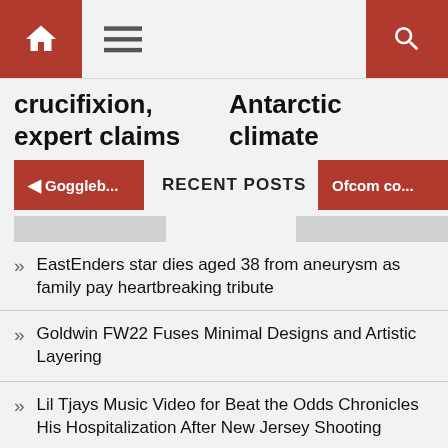Navigation bar with home, menu, and search icons
crucifixion, expert claims
Antarctic climate
◄ Goggleb...
RECENT POSTS
Ofcom co...
EastEnders star dies aged 38 from aneurysm as family pay heartbreaking tribute
Goldwin FW22 Fuses Minimal Designs and Artistic Layering
Lil Tjays Music Video for Beat the Odds Chronicles His Hospitalization After New Jersey Shooting
Police blasted for not firing drunken officer who urinated in shop
Richard E. Grant, Archie Madekwe & Alison Oliver Board Emerald